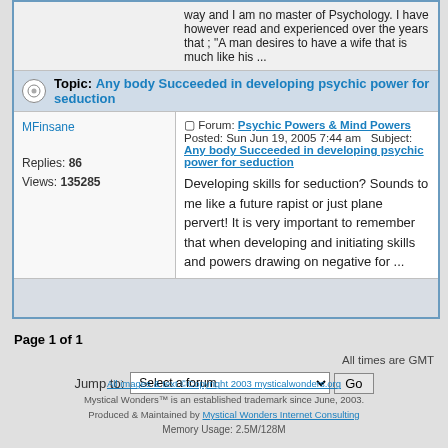way and I am no master of Psychology. I have however read and experienced over the years that ; "A man desires to have a wife that is much like his ...
Topic: Any body Succeeded in developing psychic power for seduction
MFinsane
Replies: 86
Views: 135285
Forum: Psychic Powers & Mind Powers   Posted: Sun Jun 19, 2005 7:44 am   Subject: Any body Succeeded in developing psychic power for seduction
Developing skills for seduction? Sounds to me like a future rapist or just plane pervert! It is very important to remember that when developing and initiating skills and powers drawing on negative for ...
Page 1 of 1
All times are GMT
Jump to:   Select a forum   Go
All images & text ©Copyright 2003 mysticalwonders.org
Mystical Wonders™ is an established trademark since June, 2003.
Produced & Maintained by Mystical Wonders Internet Consulting
Memory Usage: 2.5M/128M